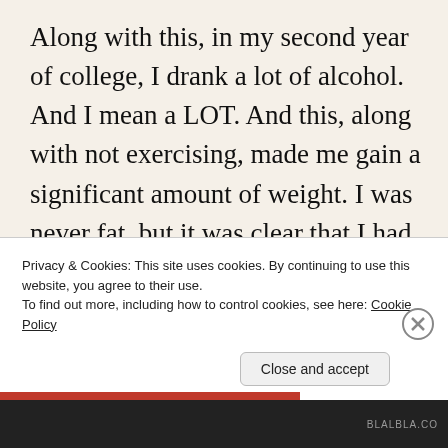Along with this, in my second year of college, I drank a lot of alcohol. And I mean a LOT. And this, along with not exercising, made me gain a significant amount of weight. I was never fat, but it was clear that I had gained weight, and in Taiwan I was considered very fat (as everyone there is so skinny), and I had been told I was fat all the time. it b...
Privacy & Cookies: This site uses cookies. By continuing to use this website, you agree to their use.
To find out more, including how to control cookies, see here: Cookie Policy
Close and accept